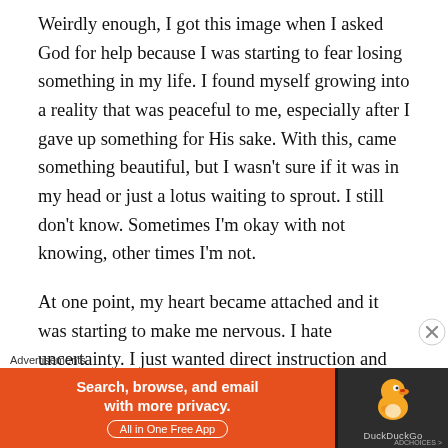Weirdly enough, I got this image when I asked God for help because I was starting to fear losing something in my life. I found myself growing into a reality that was peaceful to me, especially after I gave up something for His sake. With this, came something beautiful, but I wasn't sure if it was in my head or just a lotus waiting to sprout. I still don't know. Sometimes I'm okay with not knowing, other times I'm not.
At one point, my heart became attached and it was starting to make me nervous. I hate uncertainty. I just wanted direct instruction and...
[Figure (screenshot): DuckDuckGo advertisement banner with orange background on left side showing 'Search, browse, and email with more privacy. All in One Free App' text, and dark background on right side with DuckDuckGo duck logo.]